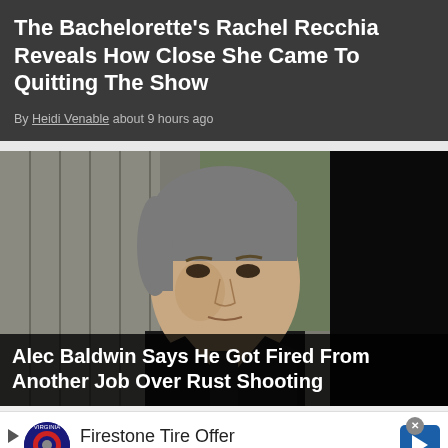The Bachelorette's Rachel Recchia Reveals How Close She Came To Quitting The Show
By Heidi Venable about 9 hours ago
[Figure (photo): Photo of Alec Baldwin in a dark suit, grey hair, looking down, with a dark silhouette in the right foreground and blurred curtains in the background.]
Alec Baldwin Says He Got Fired From Another Job Over Rust Shooting
Firestone Tire Offer
Virginia Tire & Auto of Ashburn